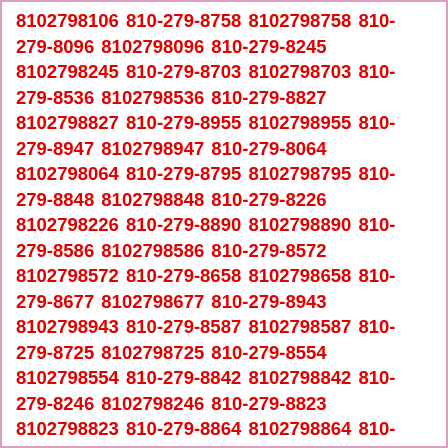8102798106 810-279-8758 8102798758 810-279-8096 8102798096 810-279-8245 8102798245 810-279-8703 8102798703 810-279-8536 8102798536 810-279-8827 8102798827 810-279-8955 8102798955 810-279-8947 8102798947 810-279-8064 8102798064 810-279-8795 8102798795 810-279-8848 8102798848 810-279-8226 8102798226 810-279-8890 8102798890 810-279-8586 8102798586 810-279-8572 8102798572 810-279-8658 8102798658 810-279-8677 8102798677 810-279-8943 8102798943 810-279-8587 8102798587 810-279-8725 8102798725 810-279-8554 8102798554 810-279-8842 8102798842 810-279-8246 8102798246 810-279-8823 8102798823 810-279-8864 8102798864 810-279-8290 8102798290 810-279-8211 8102798211 810-279-8516 8102798516 810-279-8756 8102798756 810-279-8961 8102798961 810-279-8702 8102798702 810-279-8688 8102798688 810-279-8010 8102798010 810-279-8100 8102798100 810-279-8111